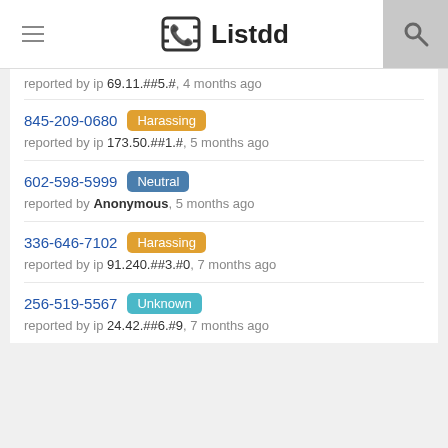Listdd
reported by ip 69.11.##5.#, 4 months ago
845-209-0680 Harassing
reported by ip 173.50.##1.#, 5 months ago
602-598-5999 Neutral
reported by Anonymous, 5 months ago
336-646-7102 Harassing
reported by ip 91.240.##3.#0, 7 months ago
256-519-5567 Unknown
reported by ip 24.42.##6.#9, 7 months ago